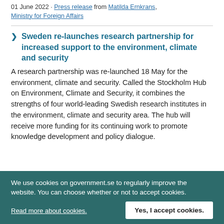01 June 2022 · Press release from Matilda Ernkrans, Ministry for Foreign Affairs
Sweden re-launches research partnership for increased support to the environment, climate and security
A research partnership was re-launched 18 May for the environment, climate and security. Called the Stockholm Hub on Environment, Climate and Security, it combines the strengths of four world-leading Swedish research institutes in the environment, climate and security area. The hub will receive more funding for its continuing work to promote knowledge development and policy dialogue.
We use cookies on government.se to regularly improve the website. You can choose whether or not to accept cookies.
Read more about cookies.
Yes, I accept cookies.